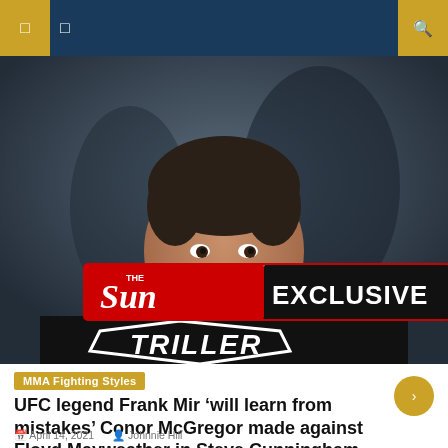Navigation bar with menu icons and search
[Figure (photo): UFC legend Frank Mir smiling, wearing a black Triller t-shirt, with a Sun Exclusive badge overlay]
MMA Fighting Styles
UFC legend Frank Mir ‘will learn from mistakes’ Conor McGregor made against Floyd Mayweather in Steve Cunningham fight
April 14, 2021  Johnnie Hill